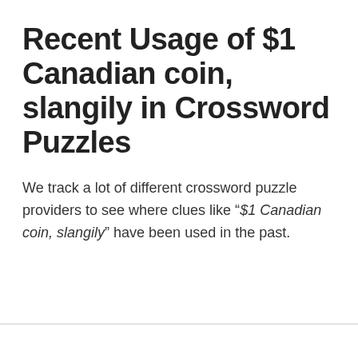Recent Usage of $1 Canadian coin, slangily in Crossword Puzzles
We track a lot of different crossword puzzle providers to see where clues like "$1 Canadian coin, slangily" have been used in the past.